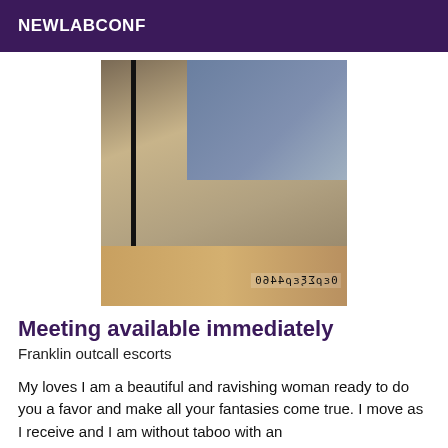NEWLABCONF
[Figure (photo): Woman in bikini sitting on bed edge, mirror reflection visible, hardwood floor, phone number watermark visible]
Meeting available immediately
Franklin outcall escorts
My loves I am a beautiful and ravishing woman ready to do you a favor and make all your fantasies come true. I move as I receive and I am without taboo with an